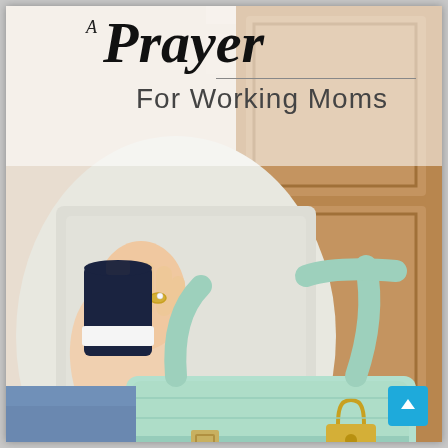[Figure (photo): A woman's torso and hands, wearing a white knit sweater and blue jeans, holding a navy blue travel coffee mug in one hand and carrying a mint green leather handbag with silver hardware over her arm. Background shows a wooden door.]
A Prayer For Working Moms